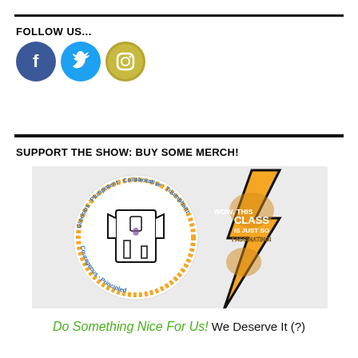FOLLOW US...
[Figure (infographic): Three social media icons: Facebook (dark blue circle with f), Twitter (light blue circle with bird), Instagram (yellow/gold circle with camera outline)]
SUPPORT THE SHOW: BUY SOME MERCH!
[Figure (photo): Two merchandise items: a circular sticker with a lab coat in the center and words Glorious, Pluripotent, Collaborative, Triumphant, Courageous, Principled around it; and an orange lightning bolt shaped sticker with a brain and text 'WOW, THIS CLASS IS JUST SO FASCINATING!']
Do Something Nice For Us! We Deserve It (?)